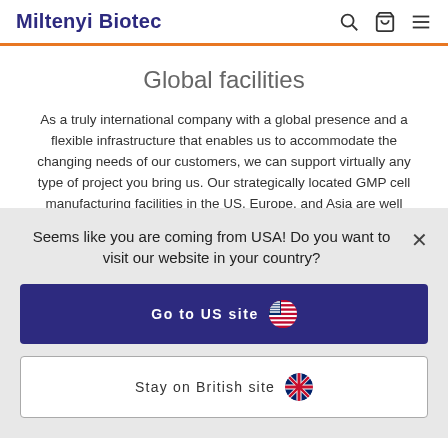Miltenyi Biotec
Global facilities
As a truly international company with a global presence and a flexible infrastructure that enables us to accommodate the changing needs of our customers, we can support virtually any type of project you bring us. Our strategically located GMP cell manufacturing facilities in the US, Europe, and Asia are well situated to support your needs in many regions. Close proximity
Seems like you are coming from USA! Do you want to visit our website in your country?
Go to US site
Stay on British site